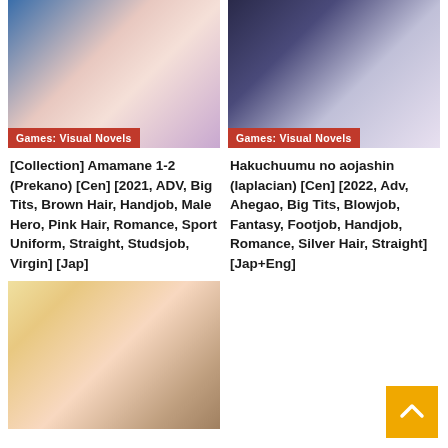[Figure (illustration): Anime-style illustration with blue outfit character, Games: Visual Novels badge overlay]
[Figure (illustration): Anime-style illustration with dark outfit silver-haired character, Games: Visual Novels badge overlay]
[Collection] Amamane 1-2 (Prekano) [Cen] [2021, ADV, Big Tits, Brown Hair, Handjob, Male Hero, Pink Hair, Romance, Sport Uniform, Straight, Studsjob, Virgin] [Jap]
Hakuchuumu no aojashin (Iaplacian) [Cen] [2022, Adv, Ahegao, Big Tits, Blowjob, Fantasy, Footjob, Handjob, Romance, Silver Hair, Straight] [Jap+Eng]
[Figure (illustration): Anime-style illustration with blonde/pink-haired character in school uniform]